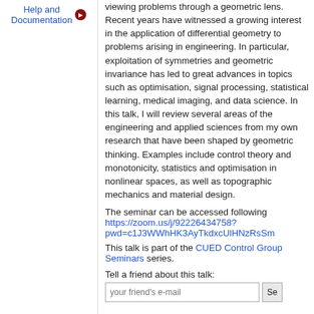Help and Documentation
viewing problems through a geometric lens. Recent years have witnessed a growing interest in the application of differential geometry to problems arising in engineering. In particular, exploitation of symmetries and geometric invariance has led to great advances in topics such as optimisation, signal processing, statistical learning, medical imaging, and data science. In this talk, I will review several areas of the engineering and applied sciences from my own research that have been shaped by geometric thinking. Examples include control theory and monotonicity, statistics and optimisation in nonlinear spaces, as well as topographic mechanics and material design.
The seminar can be accessed following https://zoom.us/j/92226434758?pwd=c1J3WWhHK3AyTkdxcUlHNzRsSm...
This talk is part of the CUED Control Group Seminars series.
Tell a friend about this talk: